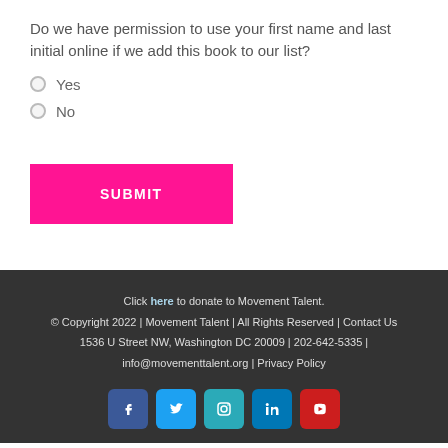Do we have permission to use your first name and last initial online if we add this book to our list?
Yes
No
SUBMIT
Click here to donate to Movement Talent. © Copyright 2022 | Movement Talent | All Rights Reserved | Contact Us 1536 U Street NW, Washington DC 20009 | 202-642-5335 | info@movementtalent.org | Privacy Policy